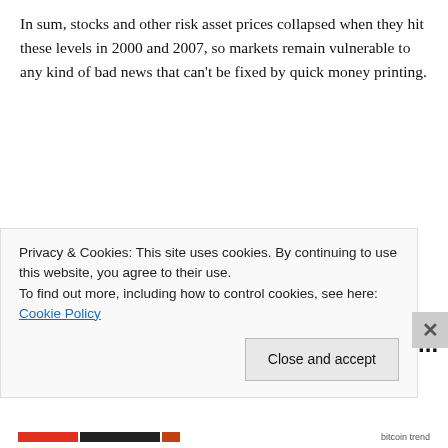In sum, stocks and other risk asset prices collapsed when they hit these levels in 2000 and 2007, so markets remain vulnerable to any kind of bad news that can't be fixed by quick money printing.
Technical Picture Remains Mixed:
Bullish Sentiment Hovering Near...
Privacy & Cookies: This site uses cookies. By continuing to use this website, you agree to their use.
To find out more, including how to control cookies, see here: Cookie Policy
Close and accept